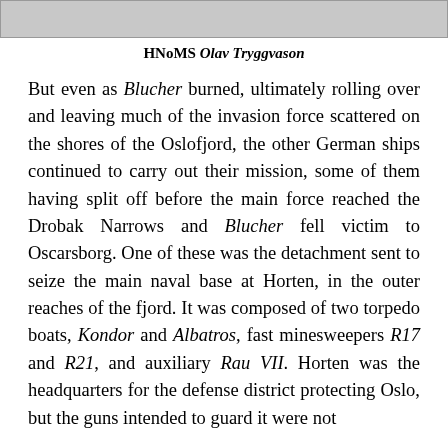[Figure (photo): Partial image strip at top of page, showing bottom edge of a photograph of HNoMS Olav Tryggvason]
HNoMS Olav Tryggvason
But even as Blucher burned, ultimately rolling over and leaving much of the invasion force scattered on the shores of the Oslofjord, the other German ships continued to carry out their mission, some of them having split off before the main force reached the Drobak Narrows and Blucher fell victim to Oscarsborg. One of these was the detachment sent to seize the main naval base at Horten, in the outer reaches of the fjord. It was composed of two torpedo boats, Kondor and Albatros, fast minesweepers R17 and R21, and auxiliary Rau VII. Horten was the headquarters for the defense district protecting Oslo, but the guns intended to guard it were not